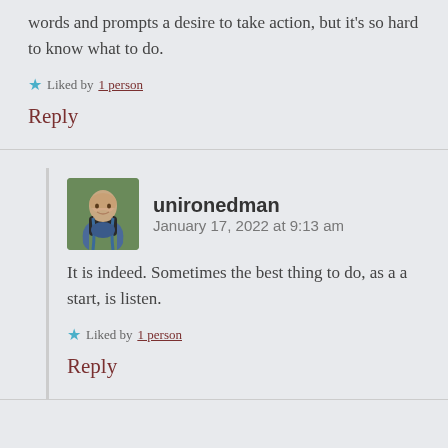words and prompts a desire to take action, but it's so hard to know what to do.
Liked by 1 person
Reply
unironedman  January 17, 2022 at 9:13 am
[Figure (photo): Avatar photo of unironedman, a person with a beard smiling]
It is indeed. Sometimes the best thing to do, as a a start, is listen.
Liked by 1 person
Reply